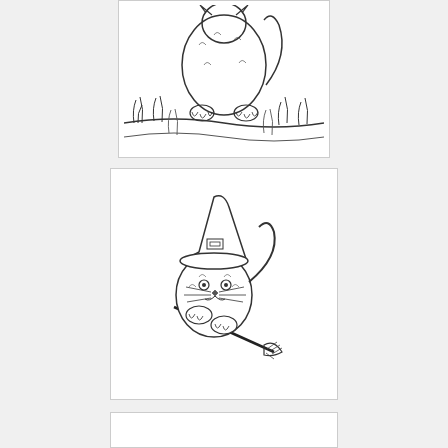[Figure (illustration): Black and white line drawing (coloring page style) of a cat or animal sitting on grass, shown from behind/below angle. Detailed grass and ground elements visible.]
[Figure (illustration): Black and white line drawing (coloring page style) of a cute cartoon cat wearing a witch hat and holding/riding a broomstick. The cat is fluffy and round with a tall pointed witch hat with a buckle.]
[Figure (illustration): Partially visible third card/illustration at the bottom of the page, content not fully visible.]